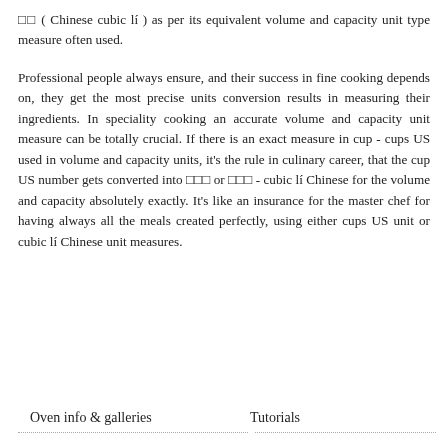□□ ( Chinese cubic lí ) as per its equivalent volume and capacity unit type measure often used.
Professional people always ensure, and their success in fine cooking depends on, they get the most precise units conversion results in measuring their ingredients. In speciality cooking an accurate volume and capacity unit measure can be totally crucial. If there is an exact measure in cup - cups US used in volume and capacity units, it's the rule in culinary career, that the cup US number gets converted into □□□ or □□□ - cubic lí Chinese for the volume and capacity absolutely exactly. It's like an insurance for the master chef for having always all the meals created perfectly, using either cups US unit or cubic lí Chinese unit measures.
Oven info & galleries    Tutorials